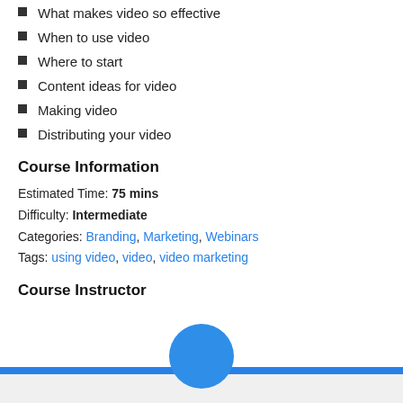What makes video so effective
When to use video
Where to start
Content ideas for video
Making video
Distributing your video
Course Information
Estimated Time: 75 mins
Difficulty: Intermediate
Categories: Branding, Marketing, Webinars
Tags: using video, video, video marketing
Course Instructor
[Figure (photo): Instructor profile photo partially visible at the bottom of the page, showing a circular avatar silhouette above a blue horizontal bar]